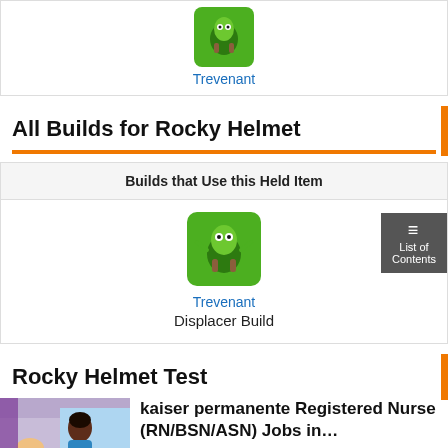[Figure (illustration): Trevenant character icon (small), rounded square, green theme]
Trevenant
All Builds for Rocky Helmet
| Builds that Use this Held Item |
| --- |
| Trevenant
Displacer Build |
Rocky Helmet Test
[Figure (photo): Advertisement image of a nurse with a patient, PR label]
kaiser permanente Registered Nurse (RN/BSN/ASN) Jobs in…
jobble.com
Recommended by Outbrain